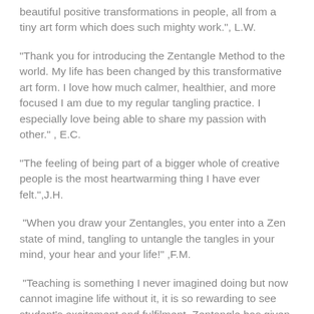beautiful positive transformations in people, all from a tiny art form which does such mighty work.", L.W.
"Thank you for introducing the Zentangle Method to the world. My life has been changed by this transformative art form. I love how much calmer, healthier, and more focused I am due to my regular tangling practice. I especially love being able to share my passion with other." , E.C.
"The feeling of being part of a bigger whole of creative people is the most heartwarming thing I have ever felt.",J.H.
"When you draw your Zentangles, you enter into a Zen state of mind, tangling to untangle the tangles in your mind, your hear and your life!" ,F.M.
"Teaching is something I never imagined doing but now cannot imagine life without it, it is so rewarding to see student's excitement and fulfilment. Zentangle has given